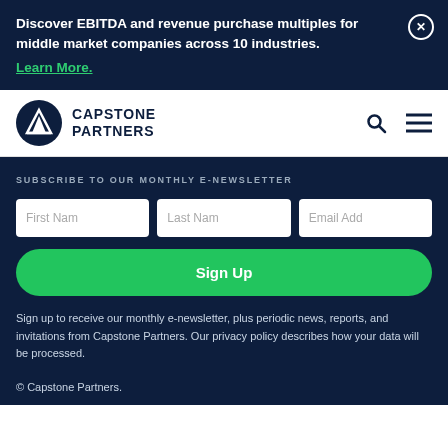Discover EBITDA and revenue purchase multiples for middle market companies across 10 industries.
Learn More.
[Figure (logo): Capstone Partners logo with mountain icon and text CAPSTONE PARTNERS]
SUBSCRIBE TO OUR MONTHLY E-NEWSLETTER
First Name | Last Name | Email Address (input fields)
Sign Up
Sign up to receive our monthly e-newsletter, plus periodic news, reports, and invitations from Capstone Partners. Our privacy policy describes how your data will be processed.
© Capstone Partners.